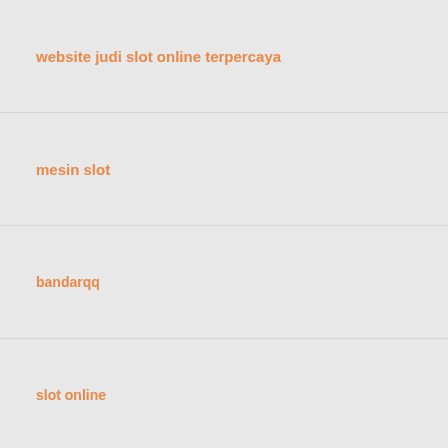website judi slot online terpercaya
mesin slot
bandarqq
slot online